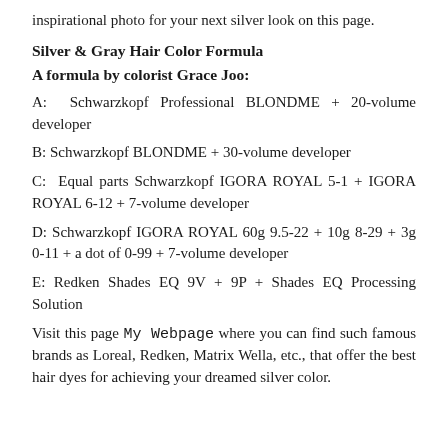inspirational photo for your next silver look on this page.
Silver & Gray Hair Color Formula
A formula by colorist Grace Joo:
A: Schwarzkopf Professional BLONDME + 20-volume developer
B: Schwarzkopf BLONDME + 30-volume developer
C: Equal parts Schwarzkopf IGORA ROYAL 5-1 + IGORA ROYAL 6-12 + 7-volume developer
D: Schwarzkopf IGORA ROYAL 60g 9.5-22 + 10g 8-29 + 3g 0-11 + a dot of 0-99 + 7-volume developer
E: Redken Shades EQ 9V + 9P + Shades EQ Processing Solution
Visit this page My Webpage where you can find such famous brands as Loreal, Redken, Matrix Wella, etc., that offer the best hair dyes for achieving your dreamed silver color.